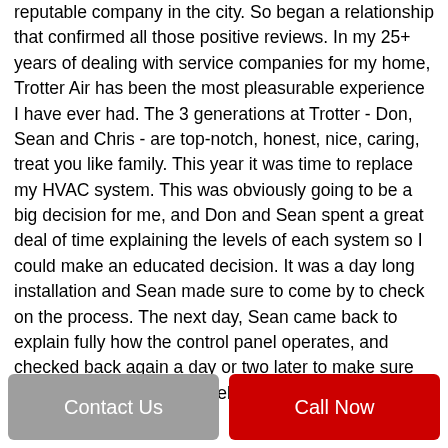reputable company in the city. So began a relationship that confirmed all those positive reviews. In my 25+ years of dealing with service companies for my home, Trotter Air has been the most pleasurable experience I have ever had. The 3 generations at Trotter - Don, Sean and Chris - are top-notch, honest, nice, caring, treat you like family. This year it was time to replace my HVAC system. This was obviously going to be a big decision for me, and Don and Sean spent a great deal of time explaining the levels of each system so I could make an educated decision. It was a day long installation and Sean made sure to come by to check on the process. The next day, Sean came back to explain fully how the control panel operates, and checked back again a day or two later to make sure the system was working well. On a very cold
Contact Us
Call Now